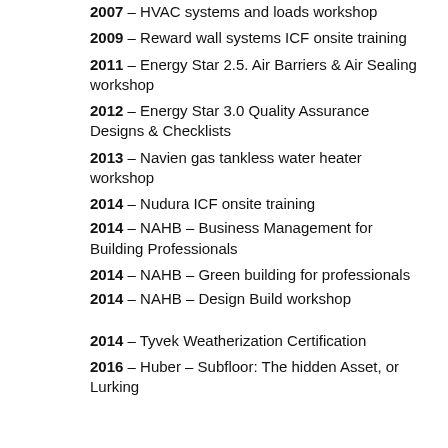2007 – HVAC systems and loads workshop
2009 – Reward wall systems ICF onsite training
2011 – Energy Star 2.5. Air Barriers & Air Sealing workshop
2012 – Energy Star 3.0 Quality Assurance Designs & Checklists
2013 – Navien gas tankless water heater workshop
2014 – Nudura ICF onsite training
2014 – NAHB – Business Management for Building Professionals
2014 – NAHB – Green building for professionals
2014 – NAHB – Design Build workshop
2014 – Tyvek Weatherization Certification
2016 – Huber – Subfloor: The hidden Asset, or Lurking